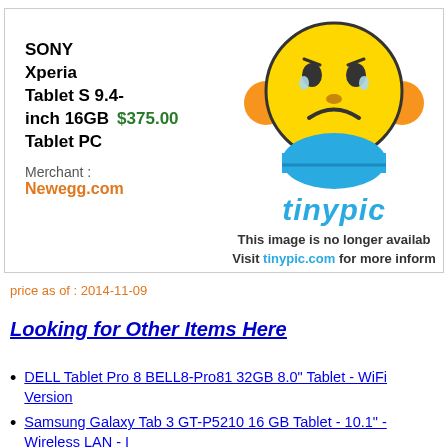[Figure (illustration): Product listing box with SONY Xperia Tablet S text on left and a TinyPic 'image no longer available' placeholder on right showing a sad yellow emoji character with the tinypic.com logo and message.]
SONY Xperia Tablet S 9.4-inch 16GB $375.00 Tablet PC
Merchant : Newegg.com
price as of : 2014-11-09
Looking for Other Items Here
DELL Tablet Pro 8 BELL8-Pro81 32GB 8.0" Tablet - WiFi Version
Samsung Galaxy Tab 3 GT-P5210 16 GB Tablet - 10.1" - Wireless LAN - I